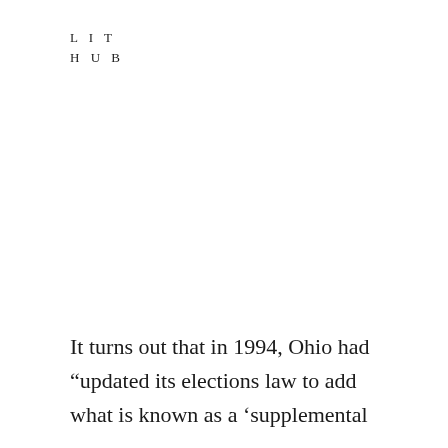LIT HUB
It turns out that in 1994, Ohio had “updated its elections law to add what is known as a ‘supplemental